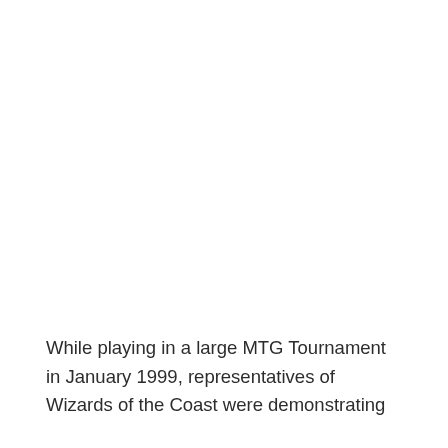While playing in a large MTG Tournament in January 1999, representatives of Wizards of the Coast were demonstrating